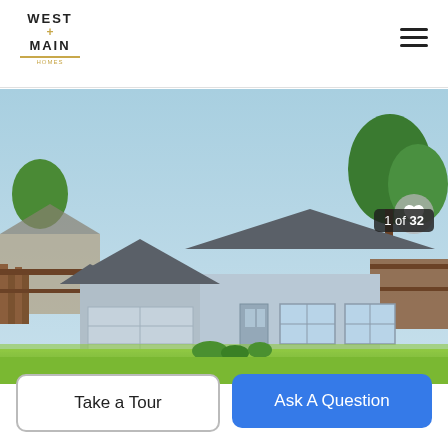[Figure (logo): West + Main Homes real estate logo with gold accent lines]
[Figure (photo): Exterior photo of a single-story ranch-style home with gray siding, two-car garage, large front lawn, and trees. Blue sky background. Photo counter overlay showing 1 of 32.]
Take a Tour
Ask A Question